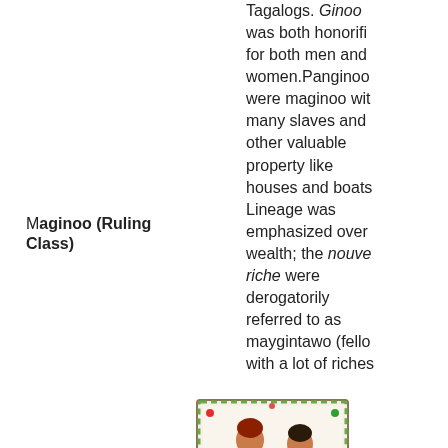Maginoo (Ruling Class)
[Figure (illustration): Historical illustration of two Maginoo figures in traditional dress, framed with decorative floral border]
Maginoo
Tagalogs. Ginoo was both honorific for both men and women.Panginoo were maginoo with many slaves and other valuable property like houses and boats. Lineage was emphasized over wealth; the nouveau riche were derogatorily referred to as maygintawo (fellow with a lot of riches